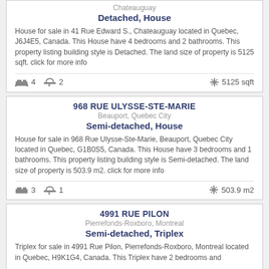Chateauguay
Detached, House
House for sale in 41 Rue Edward S., Chateauguay located in Quebec, J6J4E5, Canada. This House have 4 bedrooms and 2 bathrooms. This property listing building style is Detached. The land size of property is 5125 sqft. click for more info
🛏 4  🛁 2   ✛ 5125 sqft
968 RUE ULYSSE-STE-MARIE
Beauport, Quebec City
Semi-detached, House
House for sale in 968 Rue Ulysse-Ste-Marie, Beauport, Quebec City located in Quebec, G1B0S5, Canada. This House have 3 bedrooms and 1 bathrooms. This property listing building style is Semi-detached. The land size of property is 503.9 m2. click for more info
🛏 3  🛁 1   ✛ 503.9 m2
4991 RUE PILON
Pierrefonds-Roxboro, Montreal
Semi-detached, Triplex
Triplex for sale in 4991 Rue Pilon, Pierrefonds-Roxboro, Montreal located in Quebec, H9K1G4, Canada. This Triplex have 2 bedrooms and